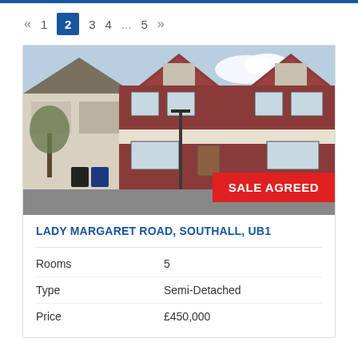« 1 2 3 4 ... 5 »
[Figure (photo): Exterior photo of a red-brick semi-detached house on Lady Margaret Road, Southall with a SALE AGREED banner overlaid]
LADY MARGARET ROAD, SOUTHALL, UB1
| Rooms | 5 |
| Type | Semi-Detached |
| Price | £450,000 |